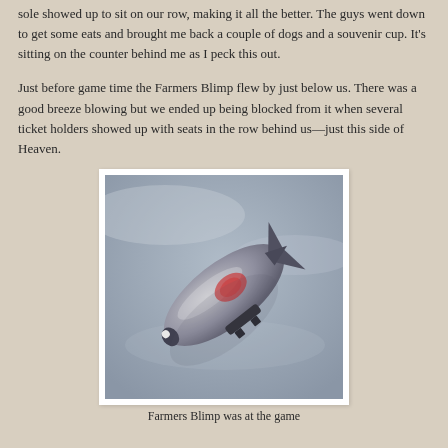sole showed up to sit on our row, making it all the better. The guys went down to get some eats and brought me back a couple of dogs and a souvenir cup. It's sitting on the counter behind me as I peck this out.
Just before game time the Farmers Blimp flew by just below us. There was a good breeze blowing but we ended up being blocked from it when several ticket holders showed up with seats in the row behind us—just this side of Heaven.
[Figure (photo): A blimp (Farmers Blimp) photographed against a grey-blue cloudy sky, tilted at an angle, with dark gondola visible underneath.]
Farmers Blimp was at the game